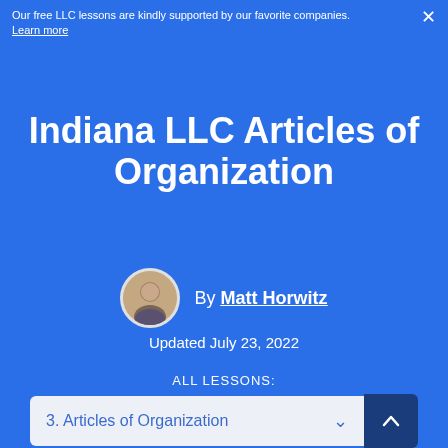Our free LLC lessons are kindly supported by our favorite companies. Learn more
Indiana LLC Articles of Organization
By Matt Horwitz
Updated July 23, 2022
ALL LESSONS:
3. Articles of Organization